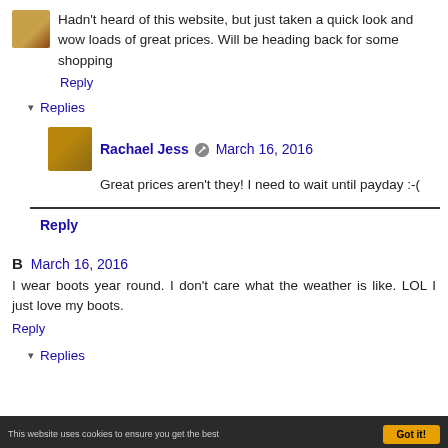Hadn't heard of this website, but just taken a quick look and wow loads of great prices. Will be heading back for some shopping
Reply
▾ Replies
Rachael Jess  March 16, 2016
Great prices aren't they! I need to wait until payday :-(
Reply
B  March 16, 2016
I wear boots year round. I don't care what the weather is like. LOL I just love my boots.
Reply
▾ Replies
This website uses cookies to ensure you get the best